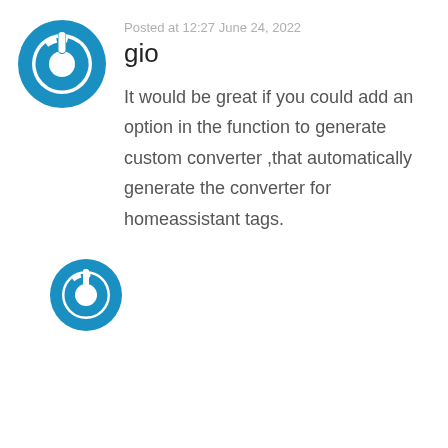[Figure (logo): Blue power button icon, circular with power symbol]
Posted at 12:27 June 24, 2022
gio
It would be great if you could add an option in the function to generate custom converter ,that automatically generate the converter for homeassistant tags.
[Figure (logo): Blue power button icon, smaller, circular with power symbol]